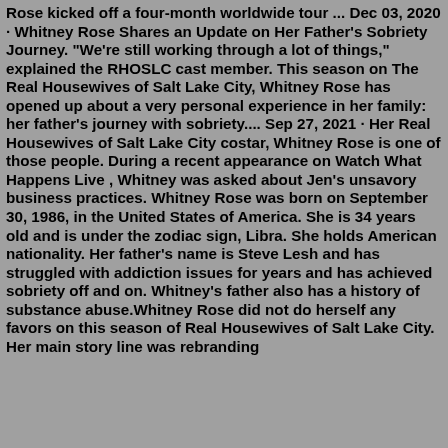Rose kicked off a four-month worldwide tour ... Dec 03, 2020 · Whitney Rose Shares an Update on Her Father's Sobriety Journey. "We're still working through a lot of things," explained the RHOSLC cast member. This season on The Real Housewives of Salt Lake City, Whitney Rose has opened up about a very personal experience in her family: her father's journey with sobriety.... Sep 27, 2021 · Her Real Housewives of Salt Lake City costar, Whitney Rose is one of those people. During a recent appearance on Watch What Happens Live , Whitney was asked about Jen's unsavory business practices. Whitney Rose was born on September 30, 1986, in the United States of America. She is 34 years old and is under the zodiac sign, Libra. She holds American nationality. Her father's name is Steve Lesh and has struggled with addiction issues for years and has achieved sobriety off and on. Whitney's father also has a history of substance abuse.Whitney Rose did not do herself any favors on this season of Real Housewives of Salt Lake City. Her main story line was rebranding